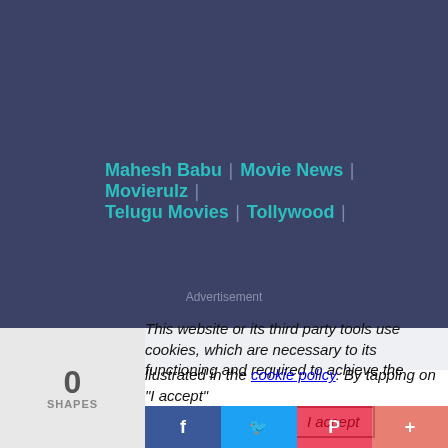Mahesh Babu | Movie News | Movierulz | Telugu Movies | Tollywood |
Advertisement
This website or its third party tools use cookies, which are necessary to its functioning and required to achieve the illustrated in the cookie policy. By tapping on "I accept" to the use of cookies.